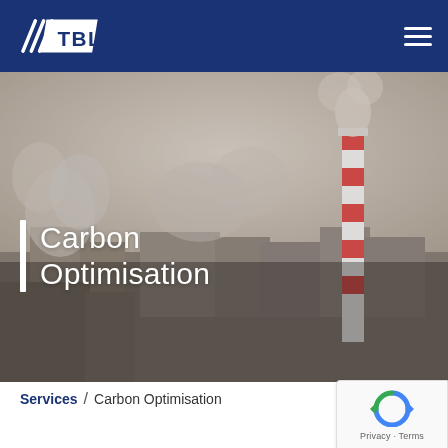TBL
[Figure (photo): Aerial view of an industrial facility with smoke stacks emitting smoke and steam, foggy urban industrial landscape with a tall red-and-white striped chimney]
Carbon Optimisation
Services / Carbon Optimisation
[Figure (logo): Google reCAPTCHA badge with Privacy and Terms links]